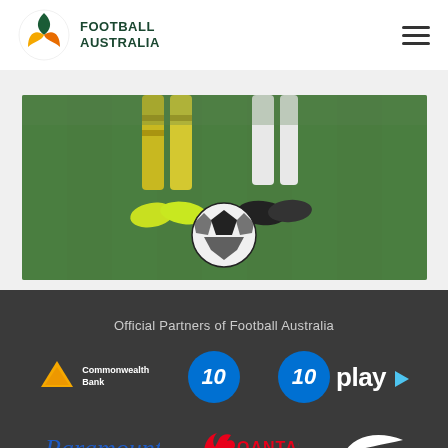[Figure (logo): Football Australia logo with green and yellow/orange emblem on the left, text FOOTBALL AUSTRALIA in dark green on the right, hamburger menu icon top right]
[Figure (photo): Two soccer players' legs standing on green grass pitch with a soccer ball between them, players wearing yellow/green boots and white boots]
Official Partners of Football Australia
[Figure (logo): Commonwealth Bank logo - yellow diamond shape with Commonwealth Bank text]
[Figure (logo): Channel 10 logo - blue circle with number 10 in italic white]
[Figure (logo): 10 play logo - blue circle with 10 and play text with arrow]
[Figure (logo): Paramount+ logo in blue italic script font]
[Figure (logo): Qantas logo - red kangaroo with QANTAS text]
[Figure (logo): Nike swoosh logo in white]